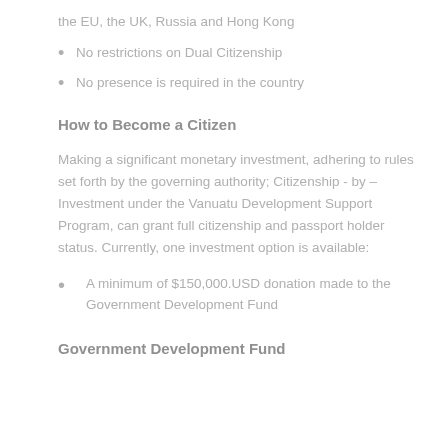the EU, the UK, Russia and Hong Kong
No restrictions on Dual Citizenship
No presence is required in the country
How to Become a Citizen
Making a significant monetary investment, adhering to rules set forth by the governing authority; Citizenship - by – Investment under the Vanuatu Development Support Program, can grant full citizenship and passport holder status. Currently, one investment option is available:
A minimum of $150,000.USD donation made to the Government Development Fund
Government Development Fund